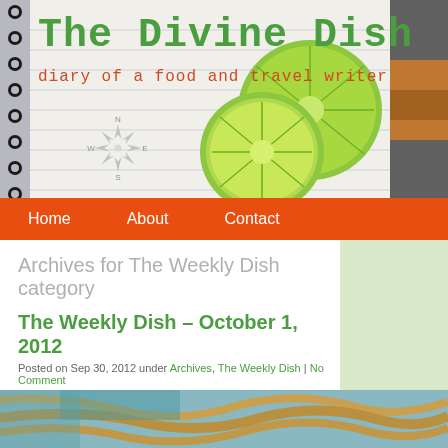[Figure (screenshot): Website header banner for 'The Divine Dish' blog with notebook paper background, compass rose, lime/citrus slices, spiral binding on left, and a partial food photo on the right]
The Divine Dish
diary of a food and travel writer
Home   About   Contact
Archives for The Weekly Dish category
The Weekly Dish – October 1, 2012
Posted on Sep 30, 2012 under Archives, The Weekly Dish | No Comment
Here is the dish on what is happening this week in Los Angeles and Las Vegas:
Los Angeles
[Figure (photo): Partial bottom image strip showing what appears to be a food/travel photograph]